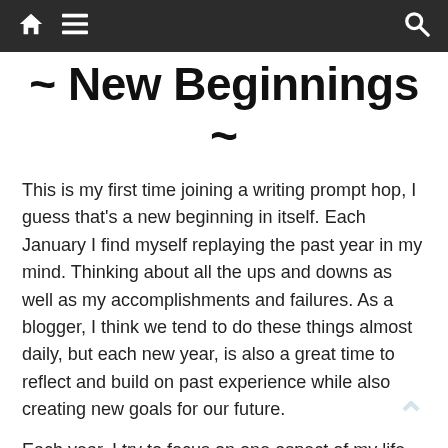[navigation bar with home icon, menu icon, and search icon]
~ New Beginnings ~
This is my first time joining a writing prompt hop, I guess that's a new beginning in itself. Each January I find myself replaying the past year in my mind. Thinking about all the ups and downs as well as my accomplishments and failures. As a blogger, I think we tend to do these things almost daily, but each new year, is also a great time to reflect and build on past experience while also creating new goals for our future.
Each year, I try to focus on one aspect of my life that needs a little more attention. This year, as my…